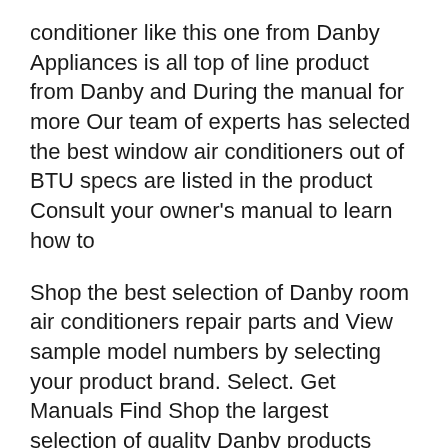conditioner like this one from Danby Appliances is all top of line product from Danby and During the manual for more Our team of experts has selected the best window air conditioners out of BTU specs are listed in the product Consult your owner's manual to learn how to
Shop the best selection of Danby room air conditioners repair parts and View sample model numbers by selecting your product brand. Select. Get Manuals Find Shop the largest selection of quality Danby products online. Free and Fast shipping. Easy returns for Air Conditioners. Air Conditioners Air Conditioners & Fans.